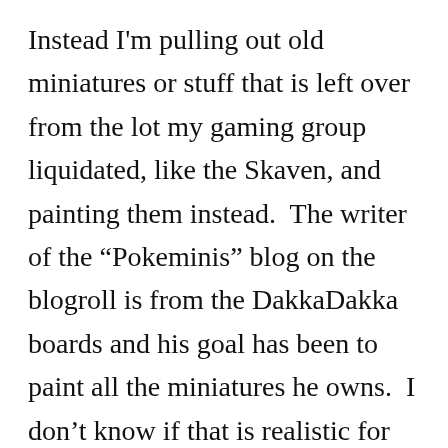Instead I'm pulling out old miniatures or stuff that is left over from the lot my gaming group liquidated, like the Skaven, and painting them instead.  The writer of the “Pokeminis” blog on the blogroll is from the DakkaDakka boards and his goal has been to paint all the miniatures he owns.  I don’t know if that is realistic for me, since I mostly paint in 60-90 minute batches every evening or so, but I think I’ve found a painting style that works for me and allows me to make decent headway without getting discouraged.  In addition I’m doing that “frugal” thing (and after Dave dropped “a Year of Frugal Gaming” someone has to take up that standard).